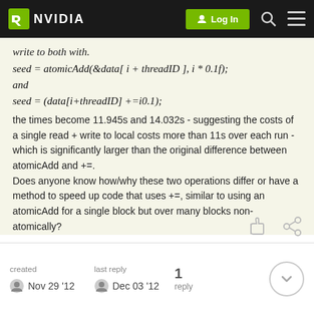NVIDIA — Log In
write to both with.
and
the times become 11.945s and 14.032s - suggesting the costs of a single read + write to local costs more than 11s over each run - which is significantly larger than the original difference between atomicAdd and +=. Does anyone know how/why these two operations differ or have a method to speed up code that uses +=, similar to using an atomicAdd for a single block but over many blocks non-atomically?
created Nov 29 '12  |  last reply Dec 03 '12  |  1 reply